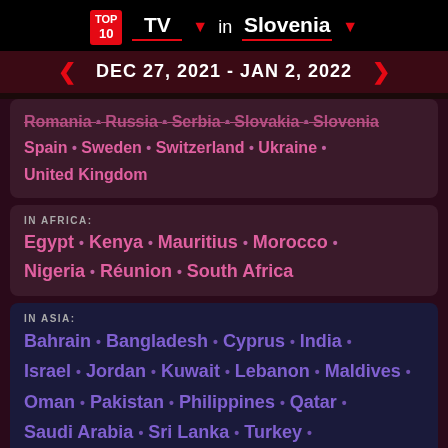TOP 10 TV in Slovenia
DEC 27, 2021 - JAN 2, 2022
Romania · Russia · Serbia · Slovakia · Slovenia · Spain · Sweden · Switzerland · Ukraine · United Kingdom
IN AFRICA: Egypt · Kenya · Mauritius · Morocco · Nigeria · Réunion · South Africa
IN ASIA: Bahrain · Bangladesh · Cyprus · India · Israel · Jordan · Kuwait · Lebanon · Maldives · Oman · Pakistan · Philippines · Qatar · Saudi Arabia · Sri Lanka · Turkey · United Arab Emirates · Vietnam
IN OCEANIA: Australia · New Caledonia · New Zealand